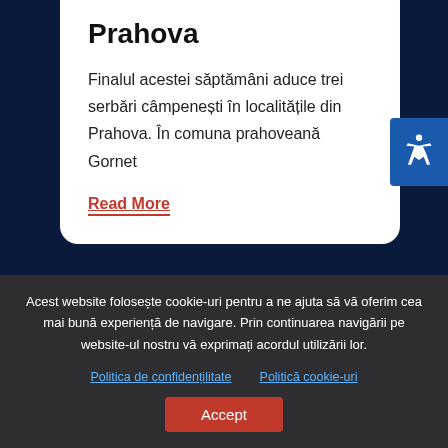Prahova
Finalul acestei săptămâni aduce trei serbări câmpenești în localitățile din Prahova. În comuna prahoveană Gornet
Read More
[Figure (photo): Partial image showing text 'PRIMARUL și CONSILIUL LOCAL al comunei ALUNIȘ' on a green background]
Acest website folosește cookie-uri pentru a ne ajuta să vă oferim cea mai bună experiență de navigare. Prin continuarea navigării pe website-ul nostru vă exprimați acordul utilizării lor.
Politica de confidențilitate
Politică cookie-uri
Accept